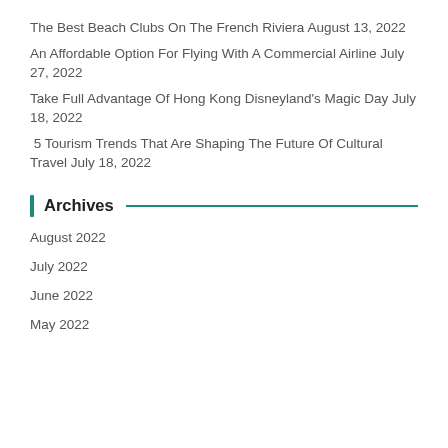The Best Beach Clubs On The French Riviera August 13, 2022
An Affordable Option For Flying With A Commercial Airline July 27, 2022
Take Full Advantage Of Hong Kong Disneyland's Magic Day July 18, 2022
5 Tourism Trends That Are Shaping The Future Of Cultural Travel July 18, 2022
Archives
August 2022
July 2022
June 2022
May 2022